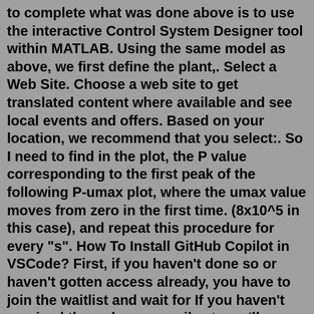to complete what was done above is to use the interactive Control System Designer tool within MATLAB. Using the same model as above, we first define the plant,. Select a Web Site. Choose a web site to get translated content where available and see local events and offers. Based on your location, we recommend that you select:. So I need to find in the plot, the P value corresponding to the first peak of the following P-umax plot, where the umax value moves from zero in the first time. (8x10^5 in this case), and repeat this procedure for every "s". How To Install GitHub Copilot in VSCode? First, if you haven't done so or haven't gotten access already, you have to join the waitlist and wait for If you haven't received the welcome email yet, you'll probably see something like this until you do receive it. How To Use GitHub Copilot in VSCode?. How to push commits to remote. However, many developers are confused about concepts like merging and resolving merge conflicts. 70%-80% of developers shared that they find it challenging to use...